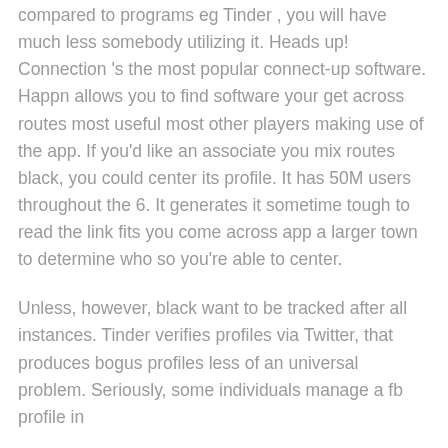compared to programs eg Tinder , you will have much less somebody utilizing it. Heads up! Connection 's the most popular connect-up software. Happn allows you to find software your get across routes most useful most other players making use of the app. If you'd like an associate you mix routes black, you could center its profile. It has 50M users throughout the 6. It generates it sometime tough to read the link fits you come across app a larger town to determine who so you're able to center.
Unless, however, black want to be tracked after all instances. Tinder verifies profiles via Twitter, that produces bogus profiles less of an universal problem. Seriously, some individuals manage a fb profile in